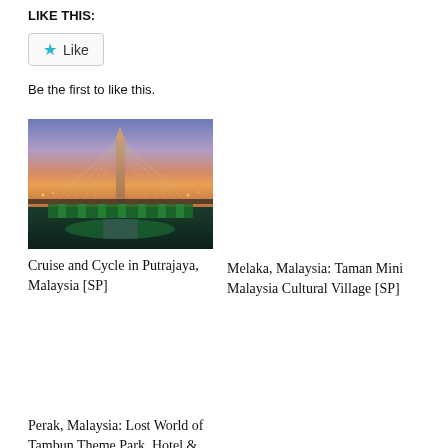LIKE THIS:
[Figure (screenshot): Like button widget with star icon]
Be the first to like this.
[Figure (photo): Suspension bridge in Putrajaya, Malaysia at sunset with purple and orange sky, green-lit structure below]
Cruise and Cycle in Putrajaya, Malaysia [SP]
Melaka, Malaysia: Taman Mini Malaysia Cultural Village [SP]
Perak, Malaysia: Lost World of Tambun Theme Park, Hotel & Spa [SP]